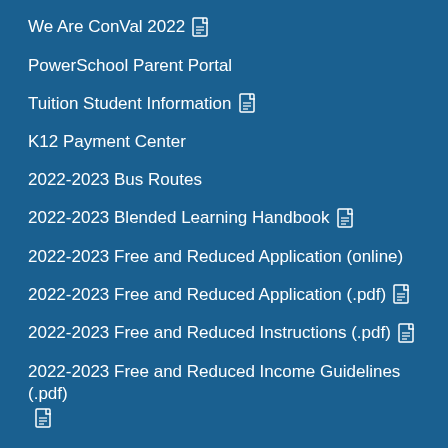We Are ConVal 2022 [pdf icon]
PowerSchool Parent Portal
Tuition Student Information [pdf icon]
K12 Payment Center
2022-2023 Bus Routes
2022-2023 Blended Learning Handbook [pdf icon]
2022-2023 Free and Reduced Application (online)
2022-2023 Free and Reduced Application (.pdf) [pdf icon]
2022-2023 Free and Reduced Instructions (.pdf) [pdf icon]
2022-2023 Free and Reduced Income Guidelines (.pdf) [pdf icon]
District Calendar 2022-23